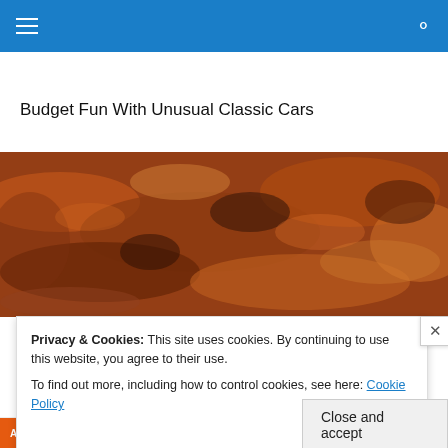≡   🔍
Budget Fun With Unusual Classic Cars
[Figure (photo): Close-up photograph of heavily rusted and corroded metal surface with peeling brown and orange rust texture.]
Privacy & Cookies: This site uses cookies. By continuing to use this website, you agree to their use.
To find out more, including how to control cookies, see here: Cookie Policy
Close and accept